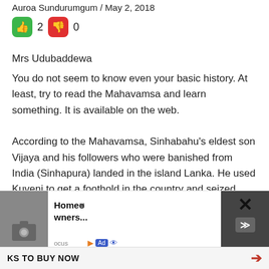Auroa Sundurumgum / May 2, 2018
[Figure (infographic): Thumbs up icon (green background) with count 2, and thumbs down icon (red background) with count 0]
Mrs Udubaddewa
You do not seem to know even your basic history. At least, try to read the Mahavamsa and learn something. It is available on the web.
According to the Mahavamsa, Sinhabahu's eldest son Vijaya and his followers who were banished from India (Sinhapura) landed in the island Lanka. He used Kuveni to get a foothold in the country and seized power by annihilating most of those aboriginal natives (Similar to what happened to the aboriginals/natives of
[Figure (screenshot): Advertisement overlay at the bottom of the page. Shows a sponsored ad for 'Homeowners...' with an X close button, a dark right panel with X and arrow icons, an Ad badge row with focus and eye icons, and a bottom bar reading 'KS TO BUY NOW' with a right arrow.]